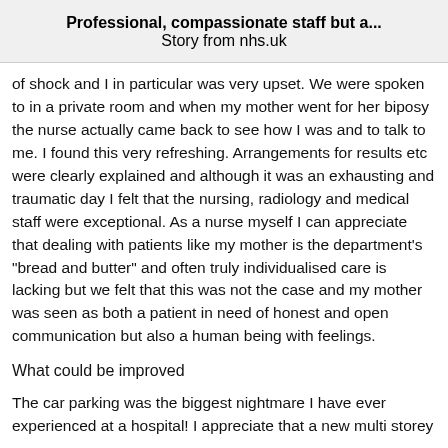Professional, compassionate staff but a...
Story from nhs.uk
of shock and I in particular was very upset. We were spoken to in a private room and when my mother went for her biposy the nurse actually came back to see how I was and to talk to me. I found this very refreshing. Arrangements for results etc were clearly explained and although it was an exhausting and traumatic day I felt that the nursing, radiology and medical staff were exceptional. As a nurse myself I can appreciate that dealing with patients like my mother is the department's "bread and butter" and often truly individualised care is lacking but we felt that this was not the case and my mother was seen as both a patient in need of honest and open communication but also a human being with feelings.
What could be improved
The car parking was the biggest nightmare I have ever experienced at a hospital! I appreciate that a new multi storey car park is being built to alleviate this situation.